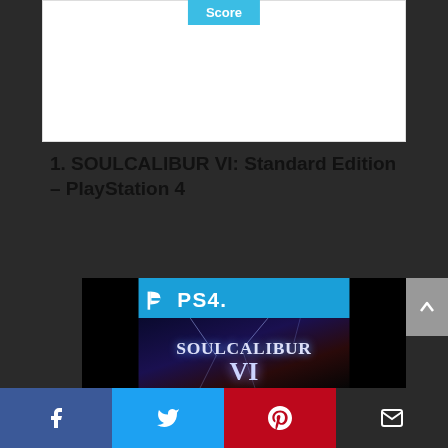Score
1. SOULCALIBUR VI: Standard Edition – PlayStation 4
[Figure (photo): SOULCALIBUR VI game cover for PlayStation 4 showing PS4 logo bar in blue at top and the game title SOULCALIBUR VI with lightning effects on a dark background]
Facebook | Twitter | Pinterest | Email social sharing bar